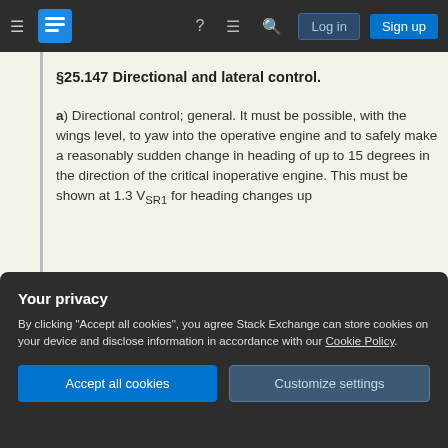Stack Exchange navigation bar with Log in and Sign up buttons
§25.147 Directional and lateral control.
a) Directional control; general. It must be possible, with the wings level, to yaw into the operative engine and to safely make a reasonably sudden change in heading of up to 15 degrees in the direction of the critical inoperative engine. This must be shown at 1.3 V_SR1 for heading changes up
Your privacy
By clicking "Accept all cookies", you agree Stack Exchange can store cookies on your device and disclose information in accordance with our Cookie Policy.
propeller in the minimum drag position,